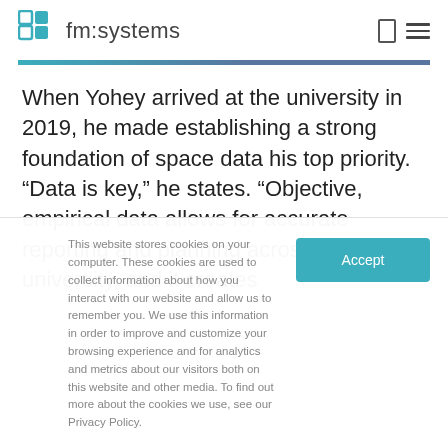fm:systems
When Yohey arrived at the university in 2019, he made establishing a strong foundation of space data his top priority. “Data is key,” he states. “Objective, empirical data allows for accurate reporting and planning across the university, and it creates
This website stores cookies on your computer. These cookies are used to collect information about how you interact with our website and allow us to remember you. We use this information in order to improve and customize your browsing experience and for analytics and metrics about our visitors both on this website and other media. To find out more about the cookies we use, see our Privacy Policy.